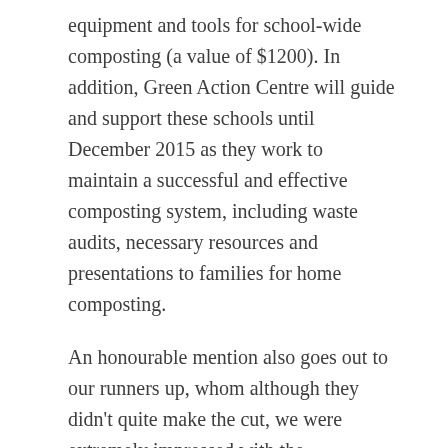equipment and tools for school-wide composting (a value of $1200). In addition, Green Action Centre will guide and support these schools until December 2015 as they work to maintain a successful and effective composting system, including waste audits, necessary resources and presentations to families for home composting.
An honourable mention also goes out to our runners up, whom although they didn't quite make the cut, we were extremely impressed with the collaboration and creativity that went into making these videos. These schools will be contacted to receive guidance and support for the implementation and improvement of their